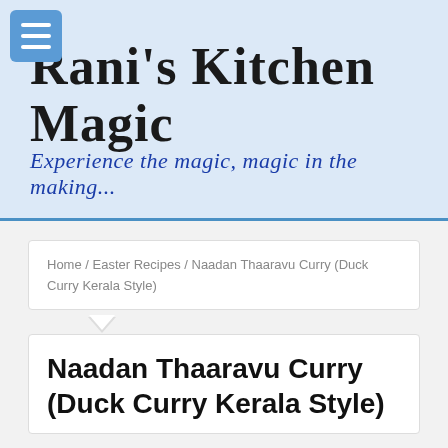[Figure (logo): Blue rounded square hamburger menu icon with three white horizontal bars]
Rani's Kitchen Magic
Experience the magic, magic in the making...
Home / Easter Recipes / Naadan Thaaravu Curry (Duck Curry Kerala Style)
Naadan Thaaravu Curry (Duck Curry Kerala Style)